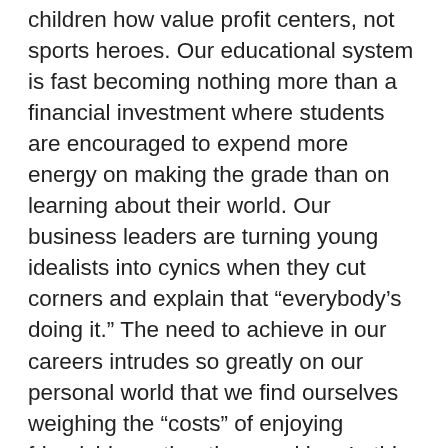children how value profit centers, not sports heroes. Our educational system is fast becoming nothing more than a financial investment where students are encouraged to expend more energy on making the grade than on learning about their world. Our business leaders are turning young idealists into cynics when they cut corners and explain that “everybody’s doing it.” The need to achieve in our careers intrudes so greatly on our personal world that we find ourselves weighing the “costs” of enjoying friendships rather than working. In this book, psychologist Barry Schwartz unravels how market freedom has insidiously expanded its reach into domains where it does not belong. He shows how this trend developed from a misguided application of the American value of individuality and self-pursuit, and how it was aided by our turning away from the basic social institutions that once offered traditional community values. These developments have left us within an overall framework for living where worth is measured entirely by usefulness in the marketplace.